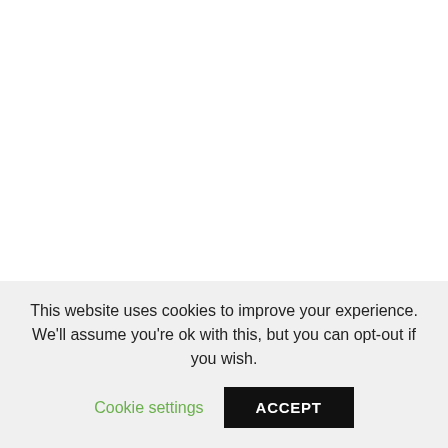Additionally, Sarantos has won 52 awards with Akademia LA Music, and Beat 10 and has also been nominated in several categories for the International Music & Entertainments Awards which include Hollywood Music In Media, Josie Awards, and the Hollywood Songwriting Awards. Even the two songs that the artist submitted for consideration for a Grammy Award were accepted and made it to the final 300 as well as the last rounds of voting.
This website uses cookies to improve your experience. We'll assume you're ok with this, but you can opt-out if you wish.
Cookie settings
ACCEPT